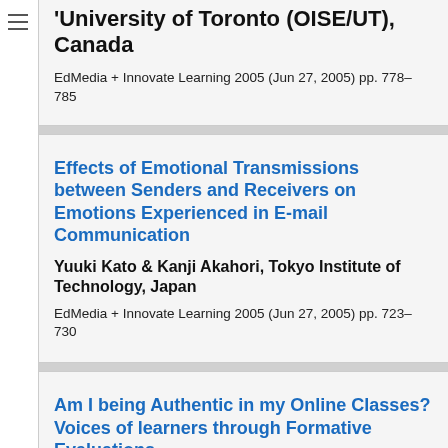'University of Toronto (OISE/UT), Canada
EdMedia + Innovate Learning 2005 (Jun 27, 2005) pp. 778–785
Effects of Emotional Transmissions between Senders and Receivers on Emotions Experienced in E-mail Communication
Yuuki Kato & Kanji Akahori, Tokyo Institute of Technology, Japan
EdMedia + Innovate Learning 2005 (Jun 27, 2005) pp. 723–730
Am I being Authentic in my Online Classes? Voices of learners through Formative Evaluations